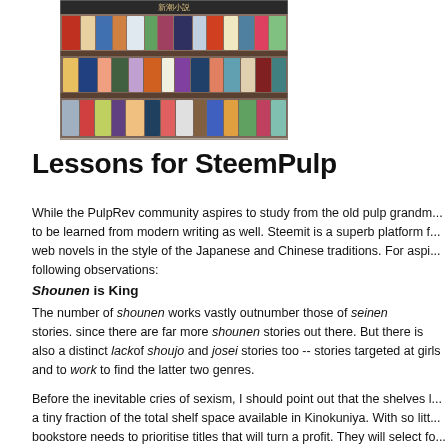[Figure (photo): Photo of bookshelves in a Japanese bookstore (Kinokuniya) with Japanese novels arranged in rows, with a sign reading 新潮小説 visible at the top.]
Lessons for SteemPulp
While the PulpRev community aspires to study from the old pulp grandm... to be learned from modern writing as well. Steemit is a superb platform f... web novels in the style of the Japanese and Chinese traditions. For aspi... following observations:
Shounen is King
The number of shounen works vastly outnumber those of seinen stories. since there are far more shounen stories out there. But there is also a distinct lack of shoujo and josei stories too -- stories targeted at girls and ... to work to find the latter two genres.
Before the inevitable cries of sexism, I should point out that the shelves l... a tiny fraction of the total shelf space available in Kinokuniya. With so litt... bookstore needs to prioritise titles that will turn a profit. They will select fo... which are not the top here and...